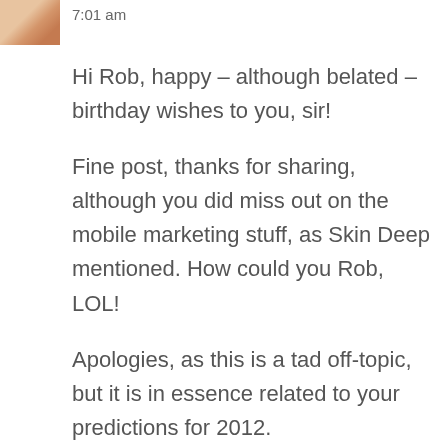[Figure (photo): Small avatar/profile photo of a person, partially visible at top-left corner]
7:01 am
Hi Rob, happy – although belated – birthday wishes to you, sir!
Fine post, thanks for sharing, although you did miss out on the mobile marketing stuff, as Skin Deep mentioned. How could you Rob, LOL!
Apologies, as this is a tad off-topic, but it is in essence related to your predictions for 2012.
As you will know Rob, I'm getting